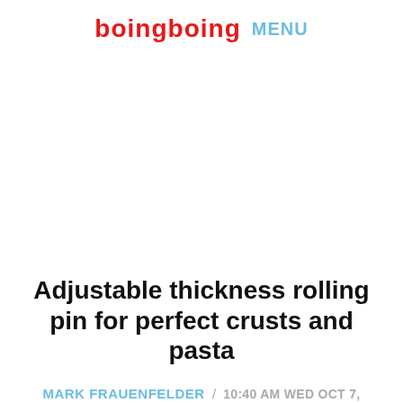boingboing MENU
[Figure (photo): Large image area (blank/white) taking up central portion of the page]
Adjustable thickness rolling pin for perfect crusts and pasta
MARK FRAUENFELDER / 10:40 AM WED OCT 7, 2020